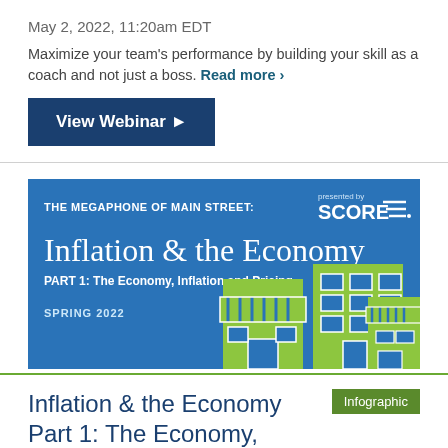May 2, 2022, 11:20am EDT
Maximize your team's performance by building your skill as a coach and not just a boss. Read more ›
View Webinar ▶
[Figure (illustration): SCORE banner for 'The Megaphone of Main Street: Inflation & the Economy, Part 1: The Economy, Inflation and Pricing, Spring 2022' with illustrated storefronts on blue background]
Infographic
Inflation & the Economy Part 1: The Economy, Inflation and